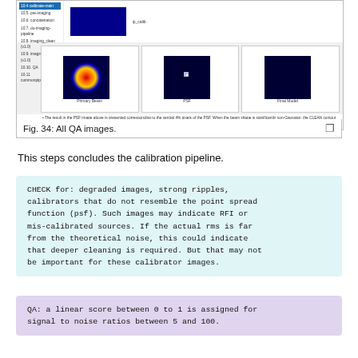[Figure (illustration): Figure showing QA images including heatmap panels (Primary Beam, PSF, Final Model) with a sidebar navigation list and a small blue block image at top.]
Fig. 34: All QA images.
This steps concludes the calibration pipeline.
CHECK for: degraded images, strong ripples, calibrators that do not resemble the point spread function (psf). Such images may indicate RFI or mis-calibrated sources. If the actual rms is far from the theoretical noise, this could indicate that deeper cleaning is required. But that may not be important for these calibrator images.
QA: a linear score between 0 to 1 is assigned for signal to noise ratios between 5 and 100.